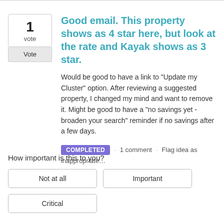Good email. This property shows as 4 star here, but look at the rate and Kayak shows as 3 star.
Would be good to have a link to "Update my Cluster" option. After reviewing a suggested property, I changed my mind and want to remove it. Might be good to have a "no savings yet - broaden your search" reminder if no savings after a few days.
COMPLETED · 1 comment · Flag idea as inappropriate…
How important is this to you?
Not at all | Important | Critical